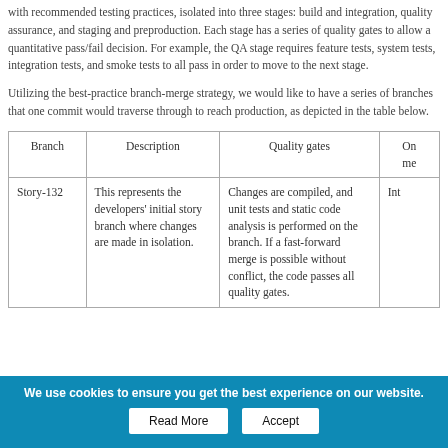with recommended testing practices, isolated into three stages: build and integration, quality assurance, and staging and preproduction. Each stage has a series of quality gates to allow a quantitative pass/fail decision. For example, the QA stage requires feature tests, system tests, integration tests, and smoke tests to all pass in order to move to the next stage.
Utilizing the best-practice branch-merge strategy, we would like to have a series of branches that one commit would traverse through to reach production, as depicted in the table below.
| Branch | Description | Quality gates | On merge |
| --- | --- | --- | --- |
| Story-132 | This represents the developers' initial story branch where changes are made in isolation. | Changes are compiled, and unit tests and static code analysis is performed on the branch. If a fast-forward merge is possible without conflict, the code passes all quality gates. | Int |
We use cookies to ensure you get the best experience on our website.